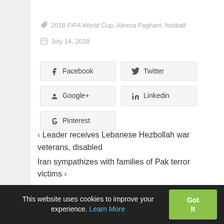2018 FIFA World Cup, Alireza Faghani, football
July 14, 2018
Facebook
Twitter
Google+
Linkedin
Pinterest
< Leader receives Lebanese Hezbollah war veterans, disabled
Iran sympathizes with families of Pak terror victims >
This website uses cookies to improve your experience. Learn More
Got It